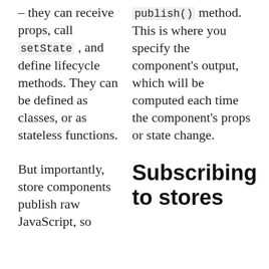– they can receive props, call setState , and define lifecycle methods. They can be defined as classes, or as stateless functions.
publish() method. This is where you specify the component's output, which will be computed each time the component's props or state change.
But importantly, store components publish raw JavaScript, so
Subscribing to stores